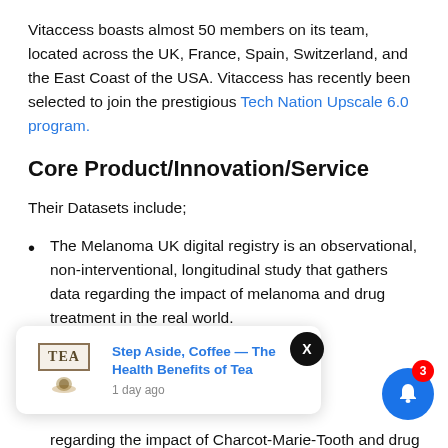Vitaccess boasts almost 50 members on its team, located across the UK, France, Spain, Switzerland, and the East Coast of the USA. Vitaccess has recently been selected to join the prestigious Tech Nation Upscale 6.0 program.
Core Product/Innovation/Service
Their Datasets include;
The Melanoma UK digital registry is an observational, non-interventional, longitudinal study that gathers data regarding the impact of melanoma and drug treatment in the real world.
...observational, ...at gathers regarding the impact of Charcot-Marie-Tooth and drug
[Figure (screenshot): Popup notification card showing 'Step Aside, Coffee — The Health Benefits of Tea' article link with TEA logo, posted 1 day ago. Overlay includes a close button (X) and a blue notification bell button with badge showing 3.]